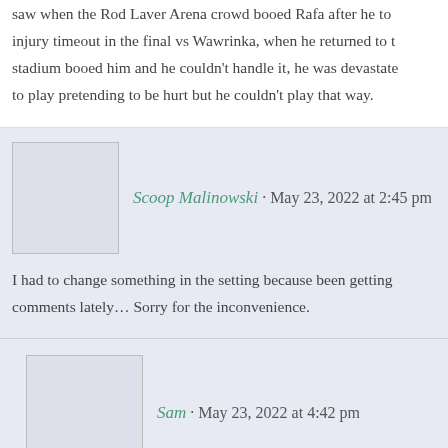saw when the Rod Laver Arena crowd booed Rafa after he took an injury timeout in the final vs Wawrinka, when he returned to the stadium booed him and he couldn't handle it, he was devastated, to play pretending to be hurt but he couldn't play that way.
Scoop Malinowski · May 23, 2022 at 2:45 pm
I had to change something in the setting because been getting comments lately… Sorry for the inconvenience.
Sam · May 23, 2022 at 4:42 pm
fans media and players must keep hollering and screaming i